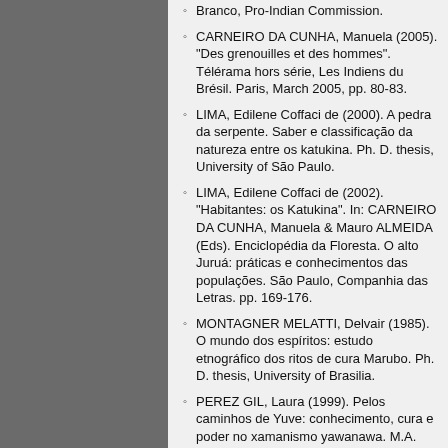CARNEIRO DA CUNHA, Manuela (2005). "Des grenouilles et des hommes". Télérama hors série, Les Indiens du Brésil. Paris, March 2005, pp. 80-83.
LIMA, Edilene Coffaci de (2000). A pedra da serpente. Saber e classificação da natureza entre os katukina. Ph. D. thesis, University of São Paulo.
LIMA, Edilene Coffaci de (2002). "Habitantes: os Katukina". In: CARNEIRO DA CUNHA, Manuela & Mauro ALMEIDA (Eds). Enciclopédia da Floresta. O alto Juruá: práticas e conhecimentos das populações. São Paulo, Companhia das Letras. pp. 169-176.
MONTAGNER MELATTI, Delvair (1985). O mundo dos espíritos: estudo etnográfico dos ritos de cura Marubo. Ph. D. thesis, University of Brasilia.
PEREZ GIL, Laura (1999). Pelos caminhos de Yuve: conhecimento, cura e poder no xamanismo yawanawa. M.A. dissertation, Federal University of Santa Catarina.
SOUZA, Moisés Barbosa et alii. (2002). "Anfibios". In: CARNEIRO DA CUNHA, Manuela & Mauro ALMEIDA (Eds). Enciclopédia da Floresta. O alto Juruá: práticas e conhecimentos das populações. São Paulo, Companhia das Letras. pp. 601-614.
TASTEVIN, Constantin (1925). "Le fleuve Muru", La Geographie, t. XLIII & XLIV: 403-422 & 14-35. [View Original with Translated Excerpt]